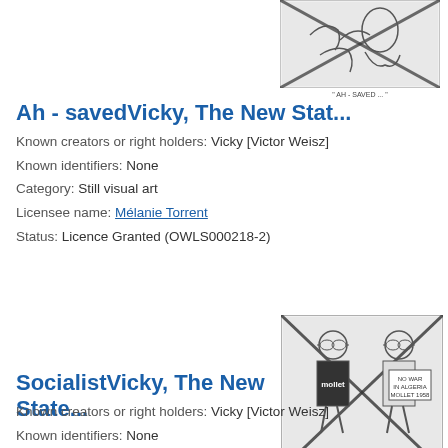[Figure (illustration): Black and white cartoon/caricature with an X overlay, partial view at top of page, appears to be a Vicky (Victor Weisz) cartoon]
Ah - savedVicky, The New Stat...
Known creators or right holders: Vicky [Victor Weisz]
Known identifiers: None
Category: Still visual art
Licensee name: Mélanie Torrent
Status: Licence Granted (OWLS000218-2)
[Figure (illustration): Black and white cartoon showing two figures with signs, one reading 'NO WAR IN ALGERIA MOLLET 1958', with an X overlay. Caption reads '"SOCIALIST!"']
SocialistVicky, The New State...
Known creators or right holders: Vicky [Victor Weisz]
Known identifiers: None
Category: Still visual art